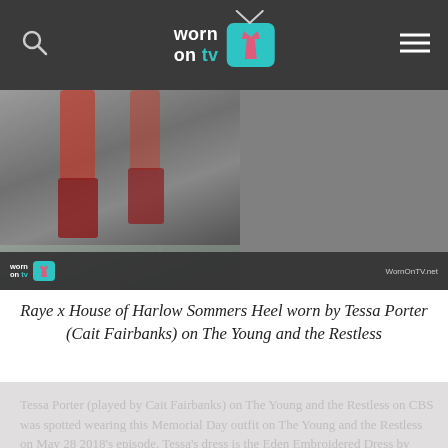worn on tv — navigation header with search and menu icons
[Figure (photo): Close-up photo of legs and red strappy heels on a stone/tile surface, with WornOnTV.net watermark bar at bottom of image]
Raye x House of Harlow Sommers Heel worn by Tessa Porter (Cait Fairbanks) on The Young and the Restless
Tessa Porter (played by Cait Fairbanks) on The Young and the Restless on CBS was spotted wearing this Memorial Day outfit on The Young and the Restless on May 28 2018's episode. Tessa's dress is the Eden Embroidered Dress by ABS Allen Schwartz. Tessa's